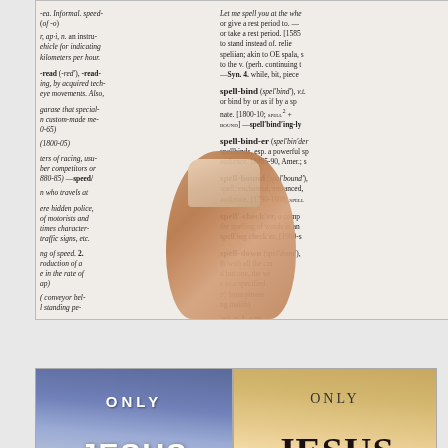[Figure (photo): A photograph of a dictionary open to entries including spell-bind, spell-binder, spell-bound, spell checker, spell-down, with a human thumb/finger pointing at the page entries]
[Figure (photo): Two book covers side by side, both titled 'ONLY JESUS' — left one has a blue/purple sky background with white bold text, right one has a warm golden/tan background with dark serif text]